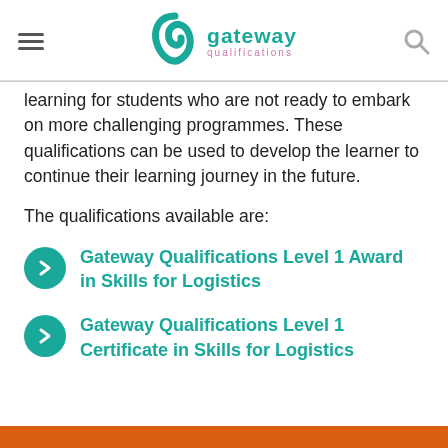gateway qualifications (logo)
learning for students who are not ready to embark on more challenging programmes. These qualifications can be used to develop the learner to continue their learning journey in the future.
The qualifications available are:
Gateway Qualifications Level 1 Award in Skills for Logistics
Gateway Qualifications Level 1 Certificate in Skills for Logistics